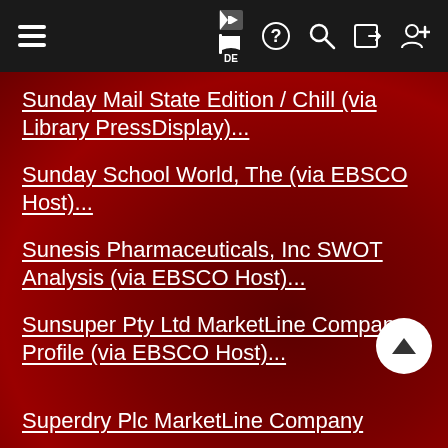Navigation bar with hamburger menu, flag/DE, help, search, login, register icons
Sunday Mail State Edition / Chill (via Library PressDisplay)...
Sunday School World, The (via EBSCO Host)...
Sunesis Pharmaceuticals, Inc SWOT Analysis (via EBSCO Host)...
Sunsuper Pty Ltd MarketLine Company Profile (via EBSCO Host)...
Superdry Plc MarketLine Company